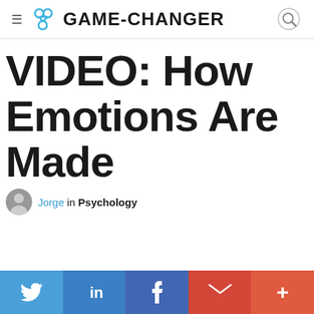GAME-CHANGER
VIDEO: How Emotions Are Made
Jorge in Psychology
[Figure (other): Social share bar with Twitter, LinkedIn, Facebook, Gmail, and More buttons]